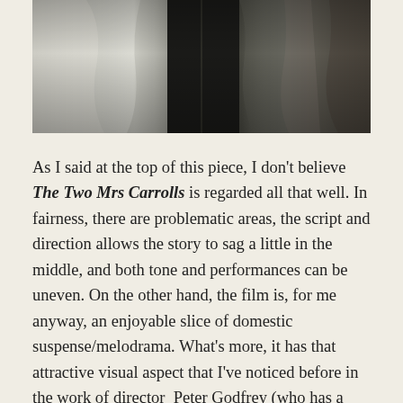[Figure (photo): Black and white photograph showing hanging fabric or costumes, with contrasting light and dark tones]
As I said at the top of this piece, I don't believe The Two Mrs Carrolls is regarded all that well. In fairness, there are problematic areas, the script and direction allows the story to sag a little in the middle, and both tone and performances can be uneven. On the other hand, the film is, for me anyway, an enjoyable slice of domestic suspense/melodrama. What's more, it has that attractive visual aspect that I've noticed before in the work of director  Peter Godfrey (who has a cameo role as a racetrack chiseler) – both Christmas in Connecticut and Cry Wolf have a visual aesthetic which really appeals to me – and this boosts the pictures stock considerably. Allied to this is that studio recreation/imagining of a